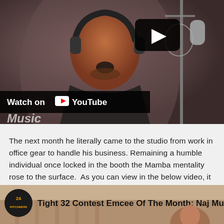[Figure (screenshot): YouTube video thumbnail showing a man wearing headphones singing into a microphone in a recording studio, with a YouTube play button overlay and 'Watch on YouTube' bar at the bottom]
The next month he literally came to the studio from work in office gear to handle his business. Remaining a humble individual once locked in the booth the Mamba mentality rose to the surface.  As you can view in the below video, it wasn't a problem dismantling the competition in a suit and tie.
[Figure (screenshot): YouTube video thumbnail showing 'Tight 32 Contest Emcee Of The Month: Naj Mu...' with Patchwerk channel logo]